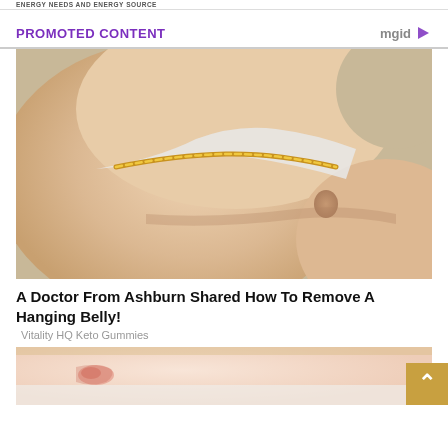ENERGY NEEDS AND ENERGY SOURCE
PROMOTED CONTENT
[Figure (photo): Close-up photo of a person's overweight belly/midsection, wearing a striped bikini top with gold chain strap, resting on a beige/tan couch]
A Doctor From Ashburn Shared How To Remove A Hanging Belly!
Vitality HQ Keto Gummies
[Figure (photo): Partial photo showing skin with redness/irritation marks, cropped at bottom of page]